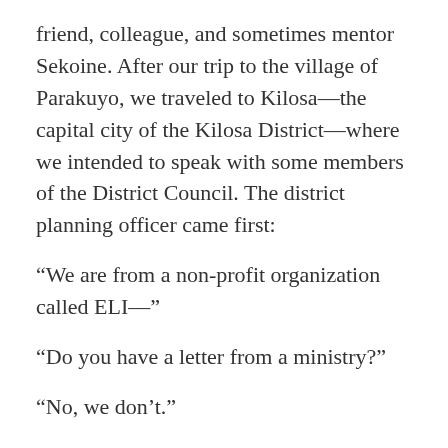friend, colleague, and sometimes mentor Sekoine. After our trip to the village of Parakuyo, we traveled to Kilosa—the capital city of the Kilosa District—where we intended to speak with some members of the District Council. The district planning officer came first:
“We are from a non-profit organization called ELI—”
“Do you have a letter from a ministry?”
“No, we don’t.”
“Go home.”
We weren’t able to meet with the politicians, but that’s no big deal in this research phase of our work, and Sekoine is going to register ELI Africa Tanzania as an NGO in Tanzania, which